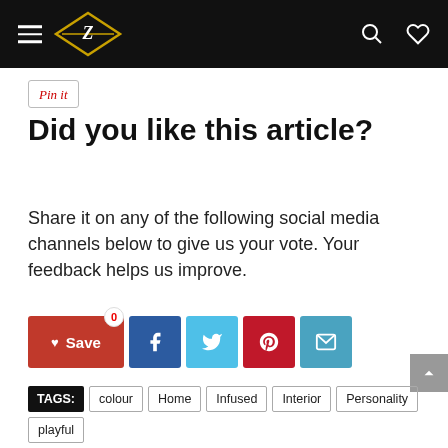Z logo navigation bar
Pin it
Did you like this article?
Share it on any of the following social media channels below to give us your vote. Your feedback helps us improve.
[Figure (other): Social sharing buttons: Save (0), Facebook, Twitter, Pinterest, Email]
TAGS: colour Home Infused Interior Personality playful